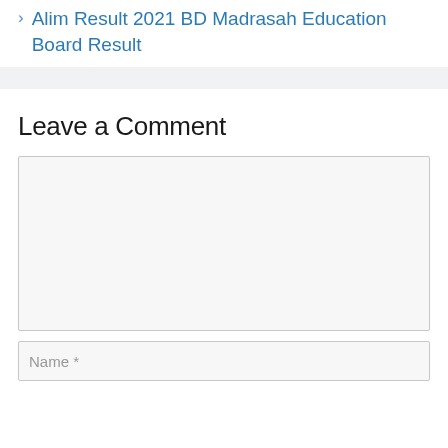Alim Result 2021 BD Madrasah Education Board Result
Leave a Comment
[Figure (screenshot): Comment textarea input field, empty, with light gray background]
[Figure (screenshot): Name input field with placeholder text 'Name *']